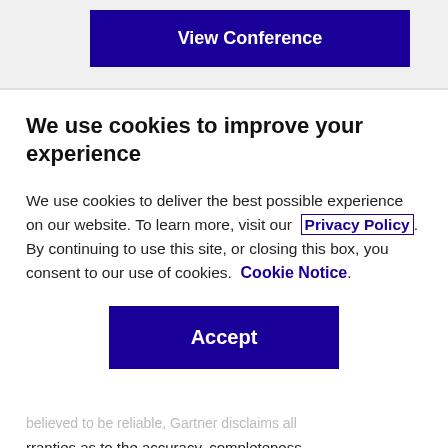[Figure (screenshot): Blue 'View Conference' button on light grey background]
We use cookies to improve your experience
We use cookies to deliver the best possible experience on our website. To learn more, visit our Privacy Policy. By continuing to use this site, or closing this box, you consent to our use of cookies. Cookie Notice.
[Figure (other): Blue Accept button]
believed to be reliable, Gartner disclaims all rranties as to the accuracy, completeness adequacy of such information. Although rtner research may address legal and